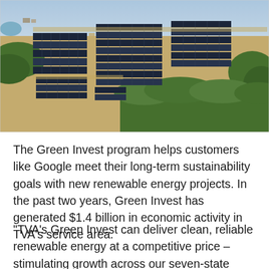[Figure (photo): Aerial photograph of a large solar farm with rows of solar panels arranged in rectangular blocks across a flat landscape, surrounded by forest and fields.]
The Green Invest program helps customers like Google meet their long-term sustainability goals with new renewable energy projects. In the past two years, Green Invest has generated $1.4 billion in economic activity in TVA's service area.
"TVA's Green Invest can deliver clean, reliable renewable energy at a competitive price – stimulating growth across our seven-state region and giving our region a competitive